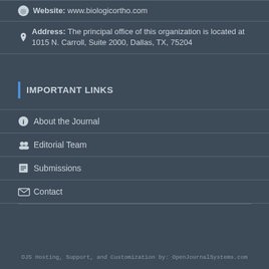Website: www.biologicortho.com
Address: The principal office of this organization is located at 1015 N. Carroll, Suite 2000, Dallas, TX, 75204
IMPORTANT LINKS
About the Journal
Editorial Team
Submissions
Contact
OJS Hosting, Support, and Customization by: OpenJournalSystems.com